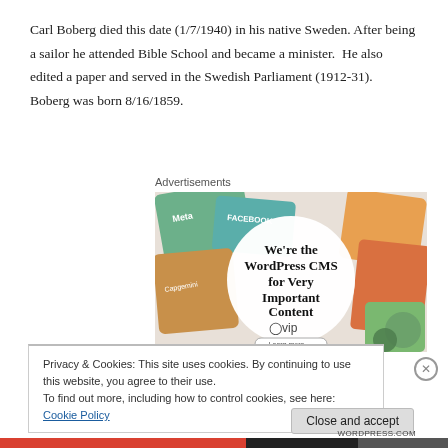Carl Boberg died this date (1/7/1940) in his native Sweden. After being a sailor he attended Bible School and became a minister. He also edited a paper and served in the Swedish Parliament (1912-31). Boberg was born 8/16/1859.
Advertisements
[Figure (screenshot): Advertisement for WordPress VIP CMS service showing 'We're the WordPress CMS for Very Important Content' with VIP logo and Learn more button, surrounded by colorful book/magazine covers including Facebook, Meta, Capgemini brands.]
Privacy & Cookies: This site uses cookies. By continuing to use this website, you agree to their use.
To find out more, including how to control cookies, see here: Cookie Policy
Close and accept